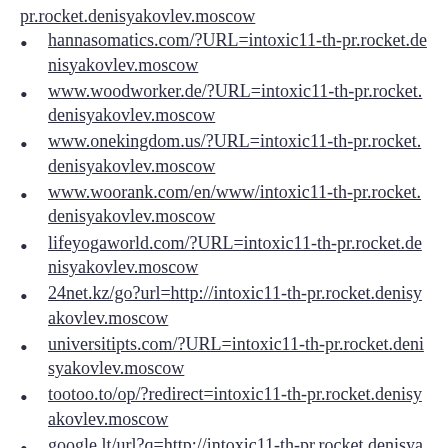pr.rocket.denisyakovlev.moscow
hannasomatics.com/?URL=intoxic11-th-pr.rocket.denisyakovlev.moscow
www.woodworker.de/?URL=intoxic11-th-pr.rocket.denisyakovlev.moscow
www.onekingdom.us/?URL=intoxic11-th-pr.rocket.denisyakovlev.moscow
www.woorank.com/en/www/intoxic11-th-pr.rocket.denisyakovlev.moscow
lifeyogaworld.com/?URL=intoxic11-th-pr.rocket.denisyakovlev.moscow
24net.kz/go?url=http://intoxic11-th-pr.rocket.denisyakovlev.moscow
universitipts.com/?URL=intoxic11-th-pr.rocket.denisyakovlev.moscow
tootoo.to/op/?redirect=intoxic11-th-pr.rocket.denisyakovlev.moscow
google.lt/url?q=http://intoxic11-th-pr.rocket.denisyakovlev.moscow